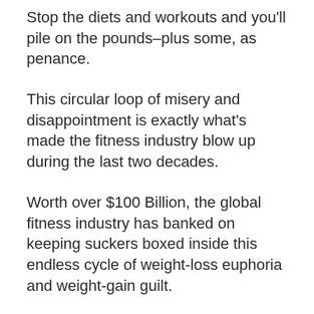Stop the diets and workouts and you'll pile on the pounds–plus some, as penance.
This circular loop of misery and disappointment is exactly what's made the fitness industry blow up during the last two decades.
Worth over $100 Billion, the global fitness industry has banked on keeping suckers boxed inside this endless cycle of weight-loss euphoria and weight-gain guilt.
Within just a few years, fitness experts, gurus, and diet-pill manufacturers became millionaires.